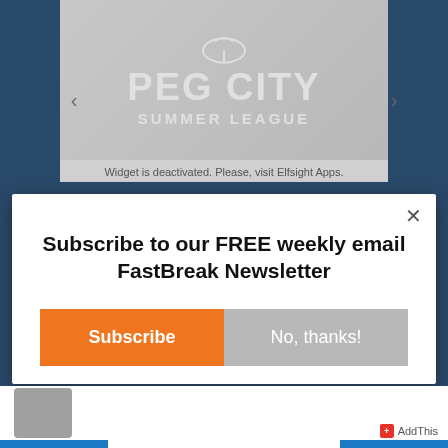[Figure (screenshot): Peg City Summer League logo/slider widget area with basketball umbrella graphic. Text reads PEG CITY SUMMER LEAGUE. Below: 'Widget is deactivated. Please, visit Elfsight Apps.']
Widget is deactivated. Please, visit Elfsight Apps.
Subscribe to our FREE weekly email FastBreak Newsletter
Subscribe
No, thanks!
[Figure (screenshot): AddThis share widget with a grey thumbnail image and AddThis branding badge in the bottom right corner.]